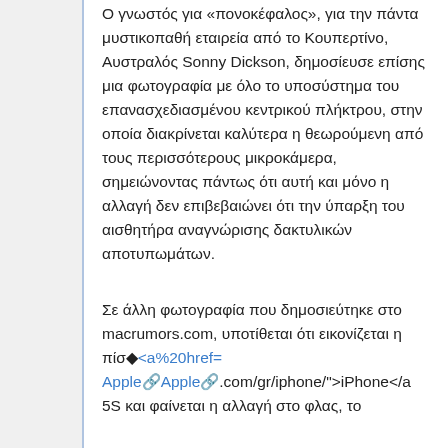Ο γνωστός για «πονοκέφαλος», για την πάντα μυστικοπαθή εταιρεία από το Κουπερτίνο, Αυστραλός Sonny Dickson, δημοσίευσε επίσης μια φωτογραφία με όλο το υποσύστημα του επανασχεδιασμένου κεντρικού πλήκτρου, στην οποία διακρίνεται καλύτερα η θεωρούμενη από τους περισσότερους μικροκάμερα, σημειώνοντας πάντως ότι αυτή και μόνο η αλλαγή δεν επιβεβαιώνει ότι την ύπαρξη του αισθητήρα αναγνώρισης δακτυλικών αποτυπωμάτων.
Σε άλλη φωτογραφία που δημοσιεύτηκε στο macrumors.com, υποτίθεται ότι εικονίζεται η πίσ<a%20href= Apple Apple .com/gr/iphone/">iPhone</a 5S και φαίνεται η αλλαγή στο φλας, το